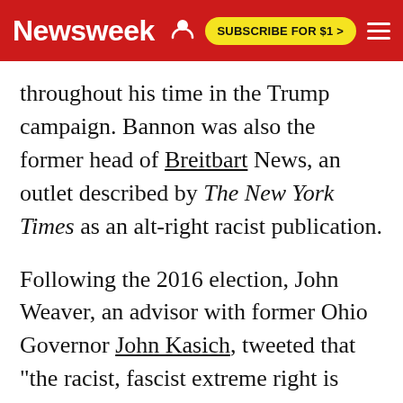Newsweek | SUBSCRIBE FOR $1 >
throughout his time in the Trump campaign. Bannon was also the former head of Breitbart News, an outlet described by The New York Times as an alt-right racist publication.
Following the 2016 election, John Weaver, an advisor with former Ohio Governor John Kasich, tweeted that "the racist, fascist extreme right is represented footsteps from the Oval Office," in response to Bannon being named Trump's strategist.